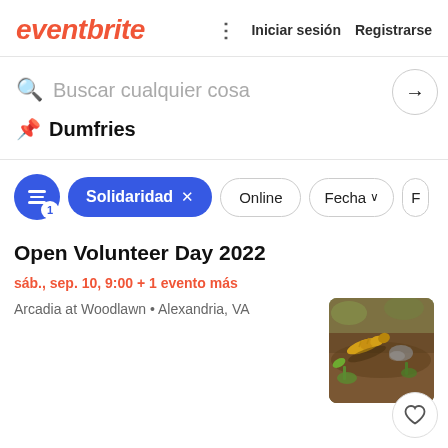eventbrite  Iniciar sesión  Registrarse
Buscar cualquier cosa
Dumfries
Solidaridad × Online Fecha
Open Volunteer Day 2022
sáb., sep. 10, 9:00 + 1 evento más
Arcadia at Woodlawn • Alexandria, VA
[Figure (photo): Photo of soil with a yellow caterpillar and green seedlings]